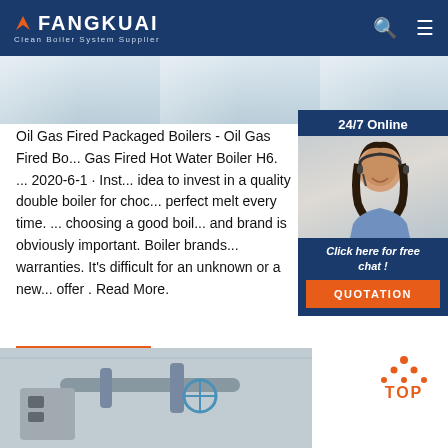FANGKUAI - Clean Boiler System Supplier
[Figure (photo): Hero banner strip showing industrial facility interior, light blue-grey tones]
[Figure (photo): 24/7 Online chat widget with smiling female customer service agent wearing headset, with 'Click here for free chat!' text and orange QUOTATION button]
Oil Gas Fired Packaged Boilers - Oil Gas Fired Bo... Gas Fired Hot Water Boiler H6. ... 2020-6-1 · Inst... idea to invest in a quality double boiler for choc... perfect melt every time. ... choosing a good boil... and brand is obviously important. Boiler brands... warranties. It's difficult for an unknown or a new... offer . Read More.
[Figure (other): Orange 'Get Price' button]
[Figure (other): Orange TOP back-to-top button with dots forming a triangle/arrow shape]
[Figure (photo): Bottom photo strip showing industrial boiler equipment, pipes and valves, greyscale tones]